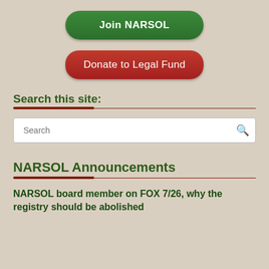[Figure (other): Green rounded button labeled Join NARSOL]
[Figure (other): Red rounded button labeled Donate to Legal Fund]
Search this site:
[Figure (other): Search input box with magnifying glass icon]
NARSOL Announcements
NARSOL board member on FOX 7/26, why the registry should be abolished